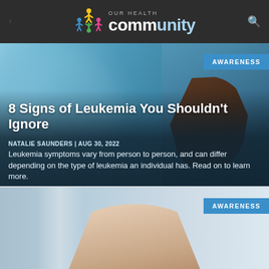OUR HEALTH community
[Figure (photo): Person holding their chest area, wearing a blue shirt, with dark overlay and article text overlay]
8 Signs of Leukemia You Shouldn't Ignore
NATALIE SAUNDERS | AUG 30, 2022
Leukemia symptoms vary from person to person, and can differ depending on the type of leukemia an individual has. Read on to learn more.
[Figure (photo): Partial view of a second article card with a person and AWARENESS badge]